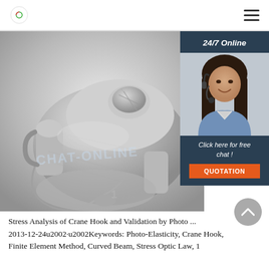Logo and navigation menu
[Figure (photo): Close-up photograph of a metallic crane hook forging component, silver/grey in color, showing a heavy industrial cast metal piece with characteristic hook shape. A watermark text overlay reads partially visible. Overlaid on the right side is a '24/7 Online' chat panel with a customer service representative photo, 'Click here for free chat!' text, and an orange 'QUOTATION' button.]
Stress Analysis of Crane Hook and Validation by Photo ... 2013-12-24u2002·u2002Keywords: Photo-Elasticity, Crane Hook, Finite Element Method, Curved Beam, Stress Optic Law, 1